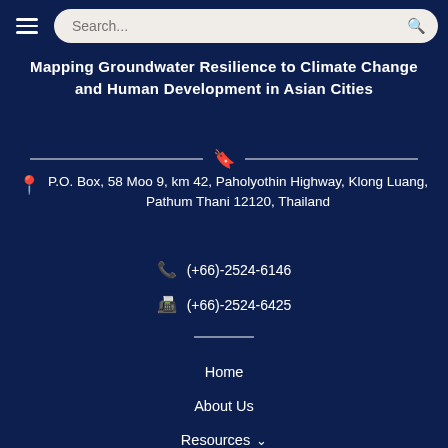Mapping Groundwater Resilience to Climate Change and Human Development in Asian Cities
P.O. Box, 58 Moo 9, km 42, Paholyothin Highway, Klong Luang, Pathum Thani 12120, Thailand
(+66)-2524-6146
(+66)-2524-6425
Home
About Us
Resources
News & Announcements
Contact Us